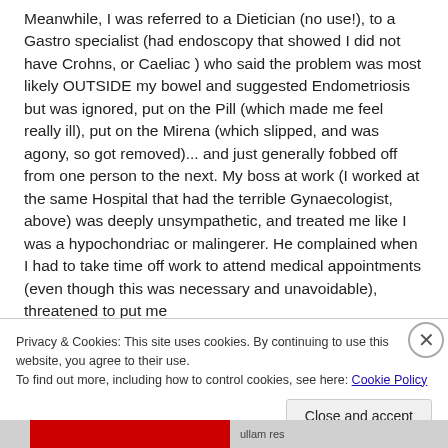Meanwhile, I was referred to a Dietician (no use!), to a Gastro specialist (had endoscopy that showed I did not have Crohns, or Caeliac ) who said the problem was most likely OUTSIDE my bowel and suggested Endometriosis but was ignored, put on the Pill (which made me feel really ill), put on the Mirena (which slipped, and was agony, so got removed)... and just generally fobbed off from one person to the next. My boss at work (I worked at the same Hospital that had the terrible Gynaecologist, above) was deeply unsympathetic, and treated me like I was a hypochondriac or malingerer. He complained when I had to take time off work to attend medical appointments (even though this was necessary and unavoidable), threatened to put me
Privacy & Cookies: This site uses cookies. By continuing to use this website, you agree to their use.
To find out more, including how to control cookies, see here: Cookie Policy